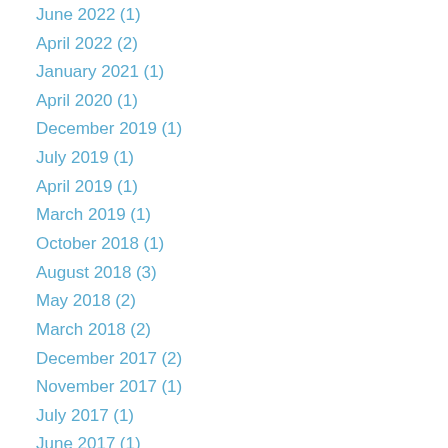June 2022 (1)
April 2022 (2)
January 2021 (1)
April 2020 (1)
December 2019 (1)
July 2019 (1)
April 2019 (1)
March 2019 (1)
October 2018 (1)
August 2018 (3)
May 2018 (2)
March 2018 (2)
December 2017 (2)
November 2017 (1)
July 2017 (1)
June 2017 (1)
May 2017 (1)
April 2017 (1)
February 2017 (1)
January 2017 (1)